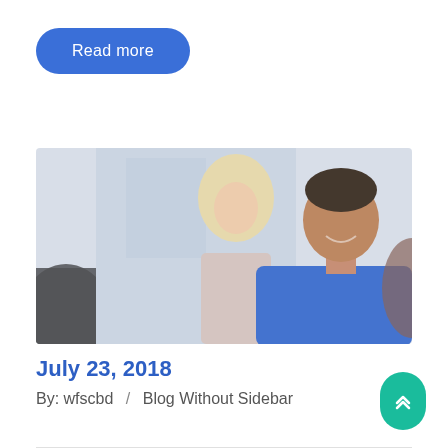Read more
[Figure (photo): A smiling man in a blue shirt in a business meeting setting, with blurred colleagues in the background including a blonde woman.]
July 23, 2018
By: wfscbd  /  Blog Without Sidebar